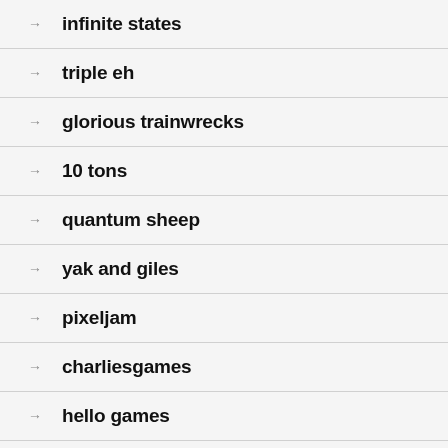infinite states
triple eh
glorious trainwrecks
10 tons
quantum sheep
yak and giles
pixeljam
charliesgames
hello games